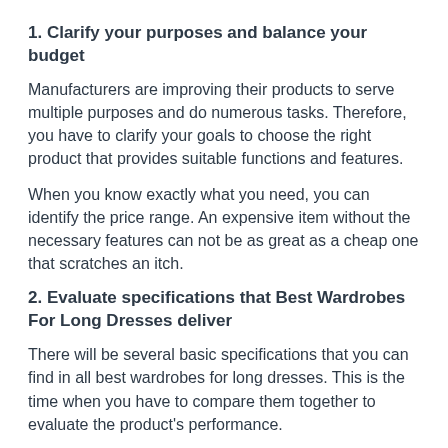1. Clarify your purposes and balance your budget
Manufacturers are improving their products to serve multiple purposes and do numerous tasks. Therefore, you have to clarify your goals to choose the right product that provides suitable functions and features.
When you know exactly what you need, you can identify the price range. An expensive item without the necessary features can not be as great as a cheap one that scratches an itch.
2. Evaluate specifications that Best Wardrobes For Long Dresses deliver
There will be several basic specifications that you can find in all best wardrobes for long dresses. This is the time when you have to compare them together to evaluate the product's performance.